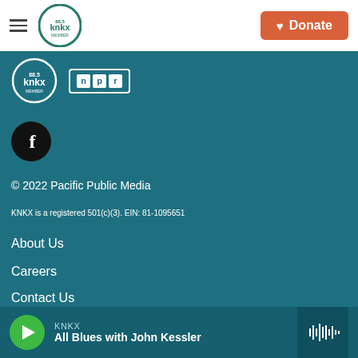KNKX header with hamburger menu, KNKX logo, and Donate button
[Figure (logo): KNKX and NPR logos on teal background]
[Figure (logo): Facebook icon - black circle with white f]
© 2022 Pacific Public Media
KNKX is a registered 501(c)(3). EIN: 81-1095651
About Us
Careers
Contact Us
KNKX — All Blues with John Kessler (player bar)